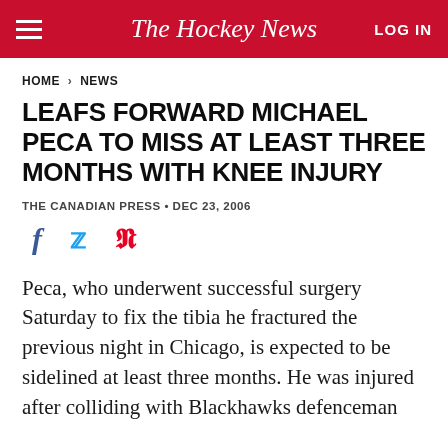The Hockey News | LOG IN
HOME > NEWS
LEAFS FORWARD MICHAEL PECA TO MISS AT LEAST THREE MONTHS WITH KNEE INJURY
THE CANADIAN PRESS · DEC 23, 2006
Peca, who underwent successful surgery Saturday to fix the tibia he fractured the previous night in Chicago, is expected to be sidelined at least three months. He was injured after colliding with Blackhawks defenceman